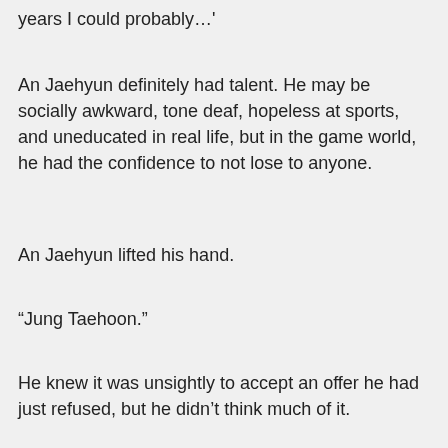years I could probably…'
An Jaehyun definitely had talent. He may be socially awkward, tone deaf, hopeless at sports, and uneducated in real life, but in the game world, he had the confidence to not lose to anyone.
An Jaehyun lifted his hand.
“Jung Taehoon.”
He knew it was unsightly to accept an offer he had just refused, but he didn’t think much of it.